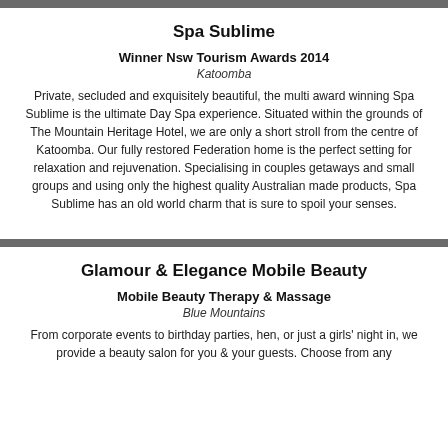Spa Sublime
Winner Nsw Tourism Awards 2014
Katoomba
Private, secluded and exquisitely beautiful, the multi award winning Spa Sublime is the ultimate Day Spa experience. Situated within the grounds of The Mountain Heritage Hotel, we are only a short stroll from the centre of Katoomba. Our fully restored Federation home is the perfect setting for relaxation and rejuvenation. Specialising in couples getaways and small groups and using only the highest quality Australian made products, Spa Sublime has an old world charm that is sure to spoil your senses.
Glamour & Elegance Mobile Beauty
Mobile Beauty Therapy & Massage
Blue Mountains
From corporate events to birthday parties, hen, or just a girls' night in, we provide a beauty salon for you & your guests. Choose from any